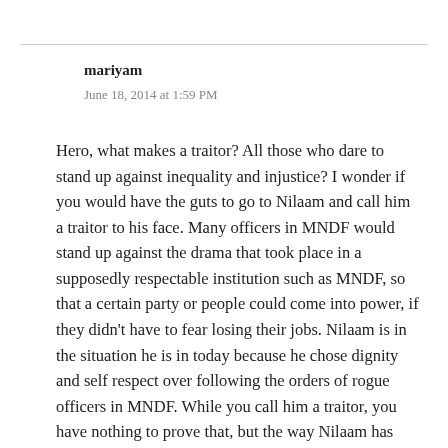mariyam
June 18, 2014 at 1:59 PM
Hero, what makes a traitor? All those who dare to stand up against inequality and injustice? I wonder if you would have the guts to go to Nilaam and call him a traitor to his face. Many officers in MNDF would stand up against the drama that took place in a supposedly respectable institution such as MNDF, so that a certain party or people could come into power, if they didn't have to fear losing their jobs. Nilaam is in the situation he is in today because he chose dignity and self respect over following the orders of rogue officers in MNDF. While you call him a traitor, you have nothing to prove that, but the way Nilaam has served this country during his career in MNDF is very clear. Shame on people like